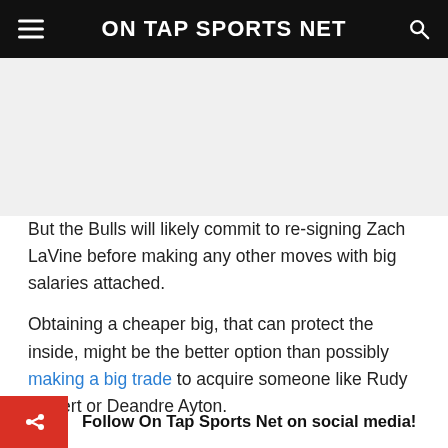ON TAP SPORTS NET
[Figure (other): Advertisement/blank space area]
But the Bulls will likely commit to re-signing Zach LaVine before making any other moves with big salaries attached.
Obtaining a cheaper big, that can protect the inside, might be the better option than possibly making a big trade to acquire someone like Rudy Gobert or Deandre Ayton.
Follow On Tap Sports Net on social media!